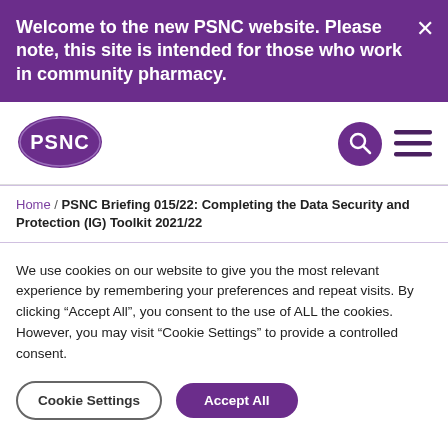Welcome to the new PSNC website. Please note, this site is intended for those who work in community pharmacy.
[Figure (logo): PSNC logo — white text 'PSNC' inside a purple oval]
Home / PSNC Briefing 015/22: Completing the Data Security and Protection (IG) Toolkit 2021/22
We use cookies on our website to give you the most relevant experience by remembering your preferences and repeat visits. By clicking “Accept All”, you consent to the use of ALL the cookies. However, you may visit “Cookie Settings” to provide a controlled consent.
Cookie Settings | Accept All